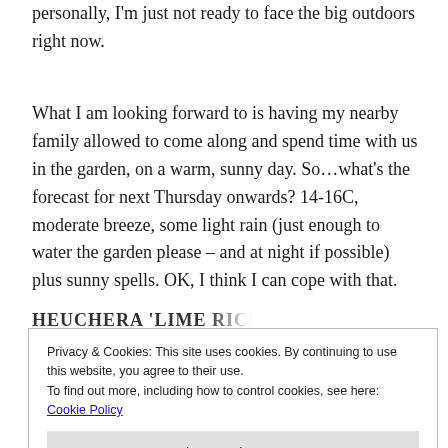personally, I'm just not ready to face the big outdoors right now.
What I am looking forward to is having my nearby family allowed to come along and spend time with us in the garden, on a warm, sunny day. So...what's the forecast for next Thursday onwards? 14-16C, moderate breeze, some light rain (just enough to water the garden please – and at night if possible) plus sunny spells. OK, I think I can cope with that.
HEUCHERA 'LIME RICKEY'
Privacy & Cookies: This site uses cookies. By continuing to use this website, you agree to their use.
To find out more, including how to control cookies, see here:
Cookie Policy
Close and accept
...offering in blue here. But next we discover the...